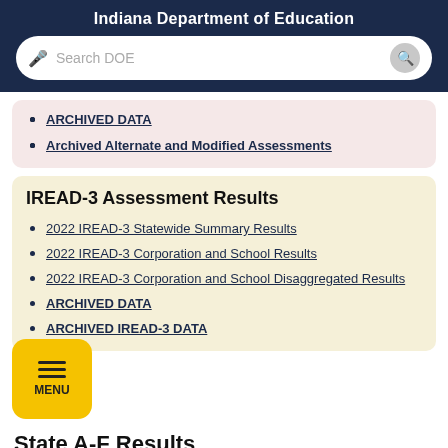Indiana Department of Education
ARCHIVED DATA
Archived Alternate and Modified Assessments
IREAD-3 Assessment Results
2022 IREAD-3 Statewide Summary Results
2022 IREAD-3 Corporation and School Results
2022 IREAD-3 Corporation and School Disaggregated Results
ARCHIVED DATA
ARCHIVED IREAD-3 DATA
State A-F Results